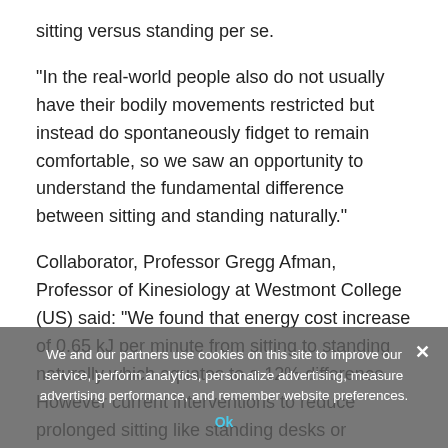sitting versus standing per se.
"In the real-world people also do not usually have their bodily movements restricted but instead do spontaneously fidget to remain comfortable, so we saw an opportunity to understand the fundamental difference between sitting and standing naturally."
Collaborator, Professor Gregg Afman, Professor of Kinesiology at Westmont College (US) said: "We found that energy cost increase of 0.65 kJ per minute from sitting to standing naturally which equates to a 12% difference. However current interventions to reduce prolonged sitting like standing desks or wearable technologies only increase standing by a maximum of two hours per day. This limited time-frame would cause a person to expend less than 30 kcals more each day."
Dr. Javier Gonzalez, who was also involved in the study from the University of Bath, added: "The very small increase in energy
We and our partners use cookies on this site to improve our service, perform analytics, personalize advertising, measure advertising performance, and remember website preferences.